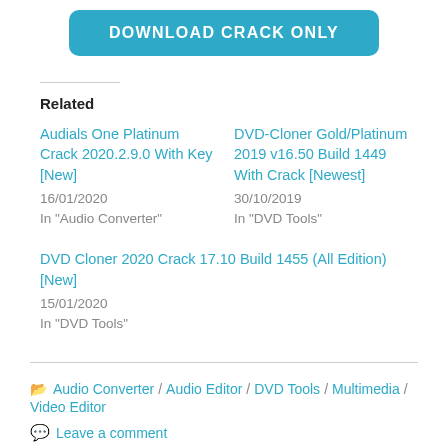[Figure (other): Download Crack Only button — teal/cyan rounded rectangle with white bold uppercase text]
Related
Audials One Platinum Crack 2020.2.9.0 With Key [New]
16/01/2020
In "Audio Converter"
DVD-Cloner Gold/Platinum 2019 v16.50 Build 1449 With Crack [Newest]
30/10/2019
In "DVD Tools"
DVD Cloner 2020 Crack 17.10 Build 1455 (All Edition) [New]
15/01/2020
In "DVD Tools"
Audio Converter / Audio Editor / DVD Tools / Multimedia / Video Editor
Leave a comment